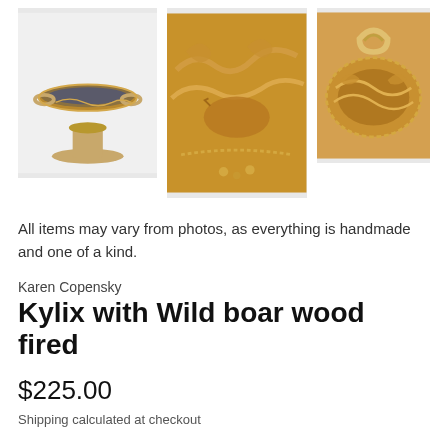[Figure (photo): Three photos of a ceramic kylix (ancient Greek drinking cup) with wild boar relief decoration, wood fired. Left: full view of the kylix on a pedestal. Center: close-up of the relief decoration showing wild boar. Right: top-down view showing the handle and decoration.]
All items may vary from photos, as everything is handmade and one of a kind.
Karen Copensky
Kylix with Wild boar wood fired
$225.00
Shipping calculated at checkout